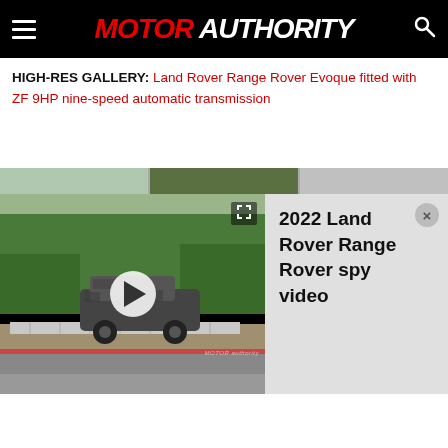MOTOR AUTHORITY
HIGH-RES GALLERY: Land Rover Range Rover Evoque fitted with ZF 9HP nine-speed automatic transmission
[Figure (screenshot): Gallery strip showing three thumbnail images of Land Rover vehicles on a racetrack]
[Figure (screenshot): Video player showing a camouflaged 2022 Land Rover Range Rover spy video on a racetrack, with play button overlay]
2022 Land Rover Range Rover spy video